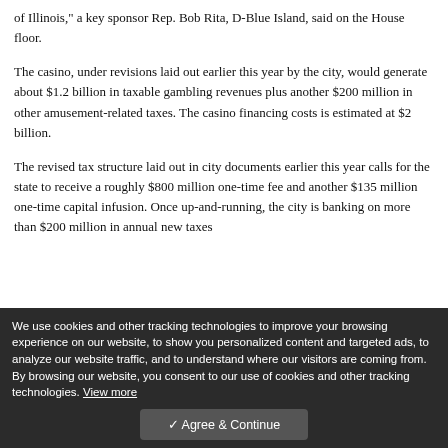of Illinois," a key sponsor Rep. Bob Rita, D-Blue Island, said on the House floor.
The casino, under revisions laid out earlier this year by the city, would generate about $1.2 billion in taxable gambling revenues plus another $200 million in other amusement-related taxes. The casino financing costs is estimated at $2 billion.
The revised tax structure laid out in city documents earlier this year calls for the state to receive a roughly $800 million one-time fee and another $135 million one-time capital infusion. Once up-and-running, the city is banking on more than $200 million in annual new taxes
We use cookies and other tracking technologies to improve your browsing experience on our website, to show you personalized content and targeted ads, to analyze our website traffic, and to understand where our visitors are coming from. By browsing our website, you consent to our use of cookies and other tracking technologies. View more
✓ Agree & Continue